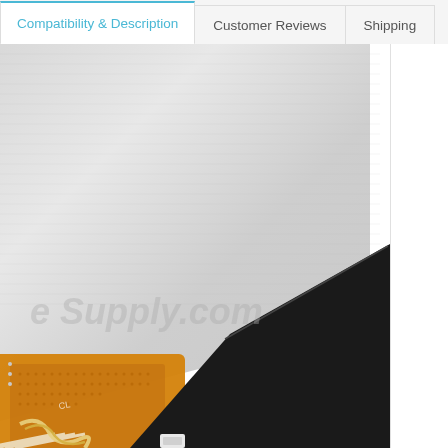Compatibility & Description | Customer Reviews | Shipping
[Figure (photo): Close-up photo of an LCD screen component showing a brushed metal/silver panel with an orange flexible ribbon cable (FPC) connector attached. The component appears to be a laptop or tablet display panel. Watermark reads 'e Supply.com' in gray text. Black frame visible at bottom-right edge.]